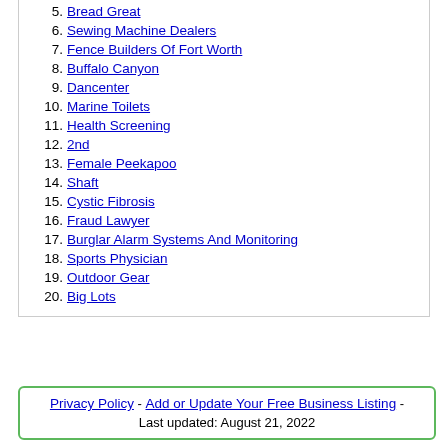5. Bread Great
6. Sewing Machine Dealers
7. Fence Builders Of Fort Worth
8. Buffalo Canyon
9. Dancenter
10. Marine Toilets
11. Health Screening
12. 2nd
13. Female Peekapoo
14. Shaft
15. Cystic Fibrosis
16. Fraud Lawyer
17. Burglar Alarm Systems And Monitoring
18. Sports Physician
19. Outdoor Gear
20. Big Lots
Privacy Policy - Add or Update Your Free Business Listing - Last updated: August 21, 2022